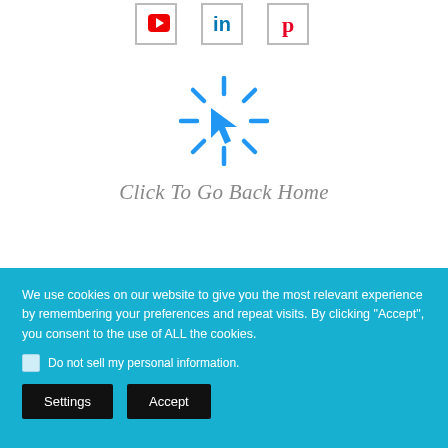[Figure (illustration): Social media icons for YouTube (red play button), LinkedIn (blue 'in'), and Pinterest (red 'p'), each in a square outlined box, partially cropped at top]
[Figure (illustration): Blue click/cursor icon with radiating lines indicating a clickable link]
Click To Go Back Home
We use cookies on our website to give you the most relevant experience by remembering your preferences and repeat visits. By clicking "Accept", you consent to the use of ALL the cookies.
Do not sell my personal information.
Settings
Accept